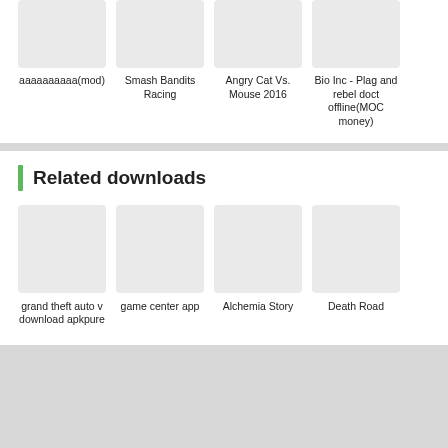[Figure (screenshot): App thumbnails row: ааааааааа(mod), Smash Bandits Racing, Angry Cat Vs. Mouse 2016, Bio Inc - Plag and rebel doct offline(MOC money)]
аааааааааа(mod)
Smash Bandits Racing
Angry Cat Vs. Mouse 2016
Bio Inc - Plag and rebel doct offline(MOC money)
Related downloads
[Figure (screenshot): App thumbnails row: grand theft auto v download apkpure, game center app, Alchemia Story, Death Road]
grand theft auto v download apkpure
game center app
Alchemia Story
Death Road